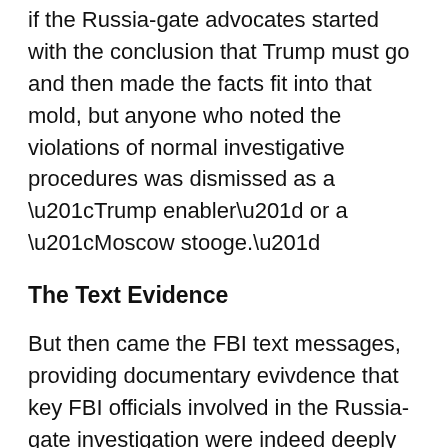if the Russia-gate advocates started with the conclusion that Trump must go and then made the facts fit into that mold, but anyone who noted the violations of normal investigative procedures was dismissed as a “Trump enabler” or a “Moscow stooge.”
The Text Evidence
But then came the FBI text messages, providing documentary evivdence that key FBI officials involved in the Russia-gate investigation were indeed deeply biased and out to get Trump, adding hard proof to Trump’s longstanding lament that he was the subject of a “witch hunt.”
Justified or not, Trump’s feeling of vindication could hardly be more dangerous — particularly at a time when the most urgent need is to drain some testosterone from the self-